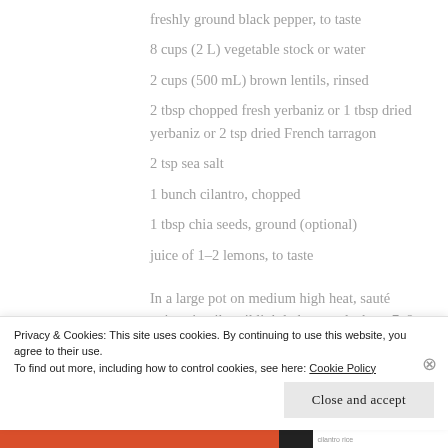freshly ground black pepper, to taste
8 cups (2 L) vegetable stock or water
2 cups (500 mL) brown lentils, rinsed
2 tbsp chopped fresh yerbaniz or 1 tbsp dried yerbaniz or 2 tsp dried French tarragon
2 tsp sea salt
1 bunch cilantro, chopped
1 tbsp chia seeds, ground (optional)
juice of 1–2 lemons, to taste
In a large pot on medium high heat, sauté
onions in oil until lightly browned, about 7–8
Privacy & Cookies: This site uses cookies. By continuing to use this website, you agree to their use.
To find out more, including how to control cookies, see here: Cookie Policy
Close and accept